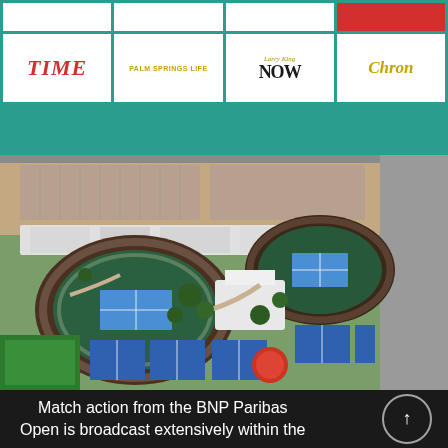[Figure (logo): Grid of media logos on teal background: top row (partially cut): 4 white boxes. Second row: TIME (red italic), PALM SPRINGS LIFE, Larry King NOW, Chron]
[Figure (photo): Aerial photograph of the BNP Paribas Open tennis venue in Indian Wells, showing multiple packed stadium courts, blue practice courts, and surrounding parking and desert landscape]
Match action from the BNP Paribas Open is broadcast extensively within the